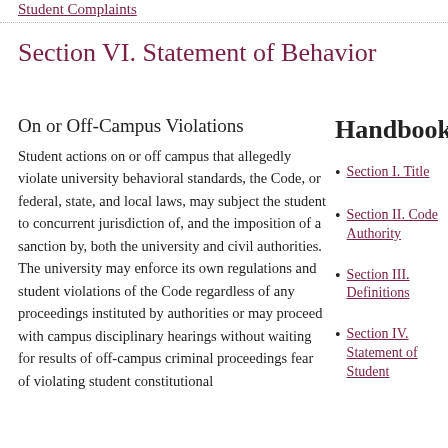Student Complaints
Section VI. Statement of Behavior
On or Off-Campus Violations
Student actions on or off campus that allegedly violate university behavioral standards, the Code, or federal, state, and local laws, may subject the student to concurrent jurisdiction of, and the imposition of a sanction by, both the university and civil authorities. The university may enforce its own regulations and student violations of the Code regardless of any proceedings instituted by authorities or may proceed with campus disciplinary hearings without waiting for results of off-campus criminal proceedings fear of violating student constitutional
Handbook
Section I. Title
Section II. Code Authority
Section III. Definitions
Section IV. Statement of Student